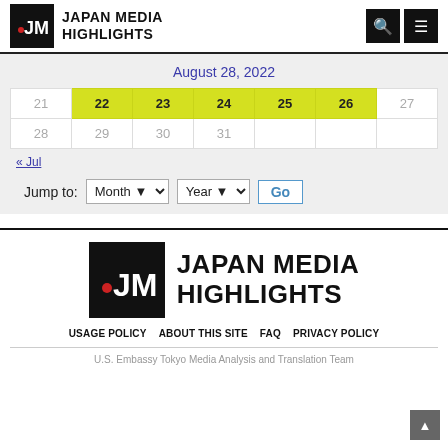JAPAN MEDIA HIGHLIGHTS
August 28, 2022
| 21 | 22 | 23 | 24 | 25 | 26 | 27 |
| --- | --- | --- | --- | --- | --- | --- |
| 21 | 22 | 23 | 24 | 25 | 26 | 27 |
| 28 | 29 | 30 | 31 |  |  |  |
« Jul
Jump to: Month Year Go
[Figure (logo): Japan Media Highlights footer logo with JMH icon]
USAGE POLICY  ABOUT THIS SITE  FAQ  PRIVACY POLICY
U.S. Embassy Tokyo Media Analysis and Translation Team